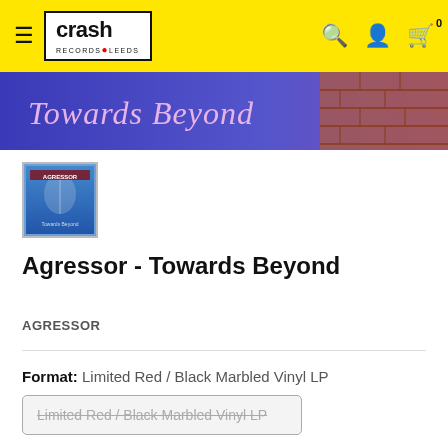Crash Records Leeds — navigation header with hamburger menu, logo, search, account, cart (0)
[Figure (photo): Banner image showing 'Towards Beyond' text in decorative font on blue/purple background with brick wall and hands detail]
[Figure (photo): Small thumbnail of Agressor - Towards Beyond album cover, blue background]
Agressor - Towards Beyond
AGRESSOR
Format: Limited Red / Black Marbled Vinyl LP
Limited Red / Black Marbled Vinyl LP (strikethrough, sold out button)